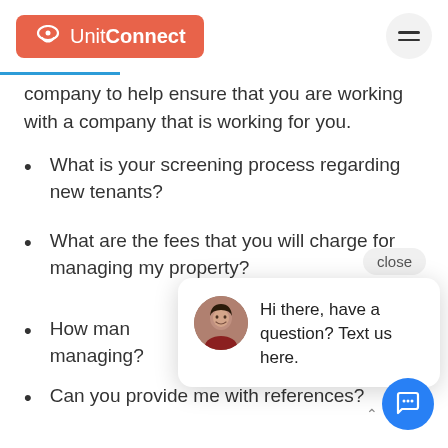UnitConnect
company to help ensure that you are working with a company that is working for you.
What is your screening process regarding new tenants?
What are the fees that you will charge for managing my property?
How many properties are you currently managing?
Can you provide me with references?
What type of services do you provide and how will they benefit my personal needs?
[Figure (screenshot): Chat popup widget with avatar photo of a woman and text: Hi there, have a question? Text us here. With a close button and a blue chat FAB button.]